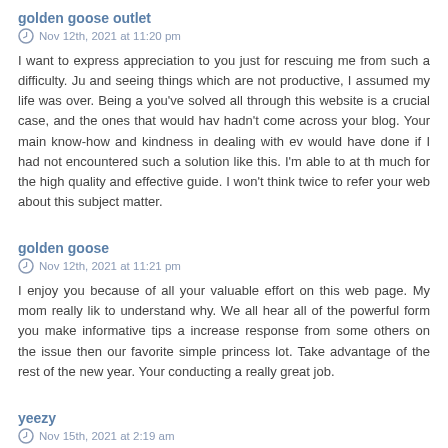golden goose outlet
Nov 12th, 2021 at 11:20 pm
I want to express appreciation to you just for rescuing me from such a difficulty. Ju and seeing things which are not productive, I assumed my life was over. Being a you've solved all through this website is a crucial case, and the ones that would hav hadn't come across your blog. Your main know-how and kindness in dealing with ev would have done if I had not encountered such a solution like this. I'm able to at th much for the high quality and effective guide. I won't think twice to refer your web about this subject matter.
golden goose
Nov 12th, 2021 at 11:21 pm
I enjoy you because of all your valuable effort on this web page. My mom really lik to understand why. We all hear all of the powerful form you make informative tips a increase response from some others on the issue then our favorite simple princess lot. Take advantage of the rest of the new year. Your conducting a really great job.
yeezy
Nov 15th, 2021 at 2:19 am
My spouse and i have been now thrilled that Chris managed to complete his recommendations he was given from your blog. It's not at all simplistic to just fi